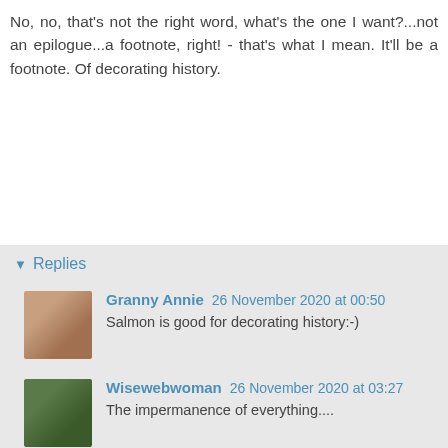No, no, that's not the right word, what's the one I want?...not an epilogue...a footnote, right! - that's what I mean. It'll be a footnote. Of decorating history.
Reply
Replies
Granny Annie 26 November 2020 at 00:50
Salmon is good for decorating history:-)
Wisewebwoman 26 November 2020 at 03:27
The impermanence of everything....

XO
WWW
Elephant's Child 26 November 2020 at 05:39